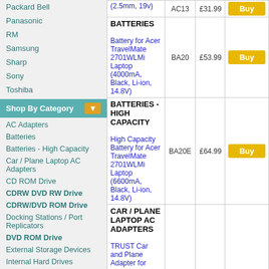Packard Bell
Panasonic
RM
Samsung
Sharp
Sony
Toshiba
Shop By Category
AC Adapters
Batteries
Batteries - High Capacity
Car / Plane Laptop AC Adapters
CD ROM Drive
CDRW DVD RW Drive
CDRW/DVD ROM Drive
Docking Stations / Port Replicators
DVD ROM Drive
External Storage Devices
Internal Hard Drives
Keyboards
Keyboards & Mice
Memory
Other Accessories
| Product | SKU | Price |  |
| --- | --- | --- | --- |
| (2.5mm, 19v) | AC13 | £31.99 | Buy |
| BATTERIES

Battery for Acer TravelMate 2701WLMi Laptop (4000mA, Black, Li-ion, 14.8V) | BA20 | £53.99 | Buy |
| BATTERIES - HIGH CAPACITY

High Capacity Battery for Acer TravelMate 2701WLMi Laptop (6600mA, Black, Li-ion, 14.8V) | BA20E | £64.99 | Buy |
| CAR / PLANE LAPTOP AC ADAPTERS

TRUST Car and Plane Adapter for |  |  |  |